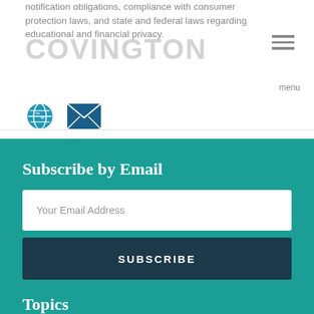notification obligations, compliance with consumer protection laws, and state and federal laws regarding educational and financial privacy.
[Figure (logo): Covington law firm logo overlaid on header text]
[Figure (infographic): Globe icon and email envelope icon]
Subscribe by Email
Your Email Address
SUBSCRIBE
Topics
Select Category